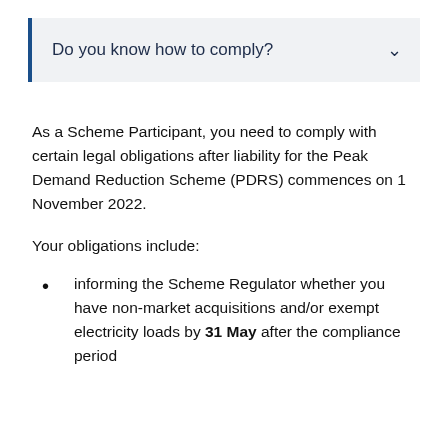Do you know how to comply?
As a Scheme Participant, you need to comply with certain legal obligations after liability for the Peak Demand Reduction Scheme (PDRS) commences on 1 November 2022.
Your obligations include:
informing the Scheme Regulator whether you have non-market acquisitions and/or exempt electricity loads by 31 May after the compliance period